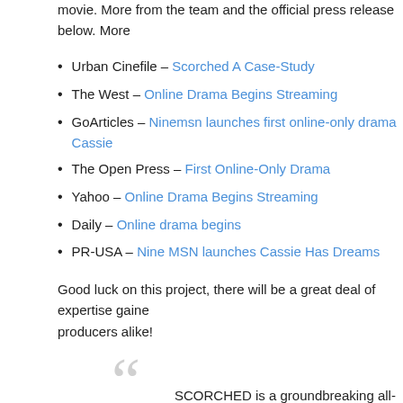movie. More from the team and the official press release below. More
Urban Cinefile – Scorched A Case-Study
The West – Online Drama Begins Streaming
GoArticles – Ninemsn launches first online-only drama Cassie
The Open Press – First Online-Only Drama
Yahoo – Online Drama Begins Streaming
Daily – Online drama begins
PR-USA – Nine MSN launches Cassie Has Dreams
Good luck on this project, there will be a great deal of expertise gaine producers alike!
SCORCHED is a groundbreaking all-media event inco user generated content that will revolutionise the way Austr drama. A gripping 90 minute tele-feature broadcast on the N an extensive 8 week interactive online drama series that wi the drama surrounding an ensemble of characters who find bushfires in a futuristic Sydney that has, due to the effects o